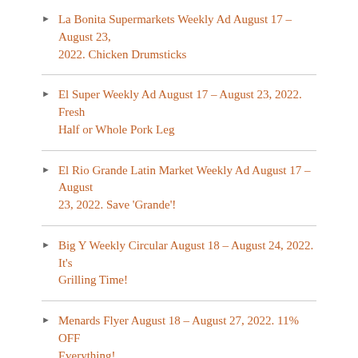La Bonita Supermarkets Weekly Ad August 17 – August 23, 2022. Chicken Drumsticks
El Super Weekly Ad August 17 – August 23, 2022. Fresh Half or Whole Pork Leg
El Rio Grande Latin Market Weekly Ad August 17 – August 23, 2022. Save 'Grande'!
Big Y Weekly Circular August 18 – August 24, 2022. It's Grilling Time!
Menards Flyer August 18 – August 27, 2022. 11% OFF Everything!
Save money – Weekly Circulars & Ads
Saving money has never been easier. Find all weekly sale circulars and ad in one place! Please browse the weekly flyers